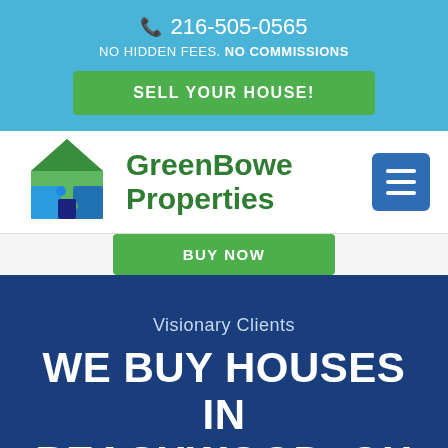📞 216-505-0565
NO HIDDEN FEES. NO COMMISSIONS
SELL YOUR HOUSE!
[Figure (logo): GreenBowe Properties puzzle-house logo with green and blue puzzle pieces forming a house shape]
GreenBowe Properties
BUY NOW
Visionary Clients
WE BUY HOUSES IN BEACHWOOD, OH REVIEWS